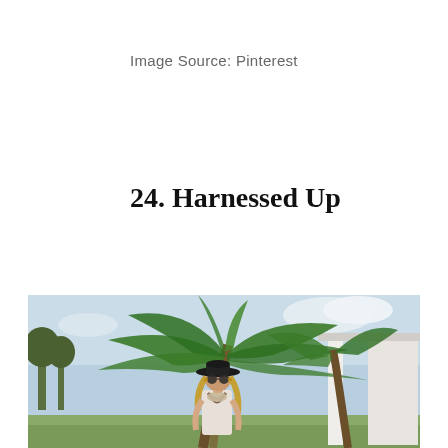Image Source: Pinterest
24. Harnessed Up
[Figure (photo): A woman wearing a wide-brimmed black hat, round sunglasses, and a statement necklace/harness outfit, standing in front of a large palm tree outdoors on a sunny day.]